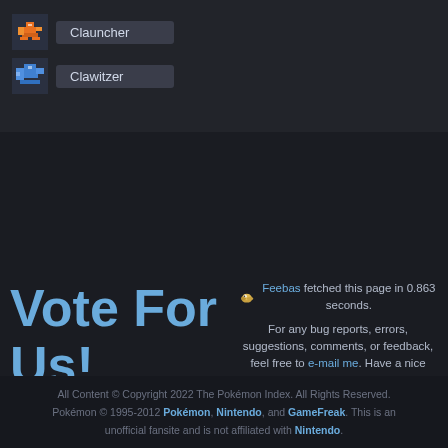Clauncher
Clawitzer
Vote For Us!
Feebas fetched this page in 0.863 seconds.
For any bug reports, errors, suggestions, comments, or feedback, feel free to e-mail me. Have a nice day!
All Content © Copyright 2022 The Pokémon Index. All Rights Reserved. Pokémon © 1995-2012 Pokémon, Nintendo, and GameFreak. This is an unofficial fansite and is not affiliated with Nintendo.